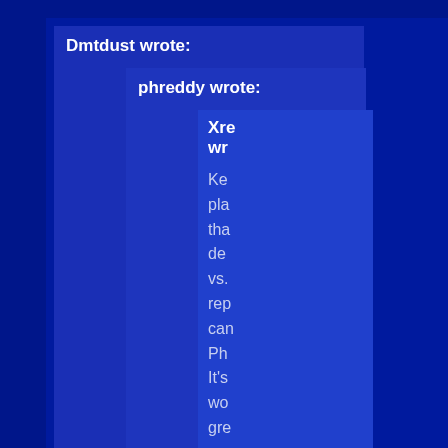Dmtdust wrote:
phreddy wrote:
Xre wrote:
Ke pla tha de vs. rep can Ph It's wo gre so far, and ha